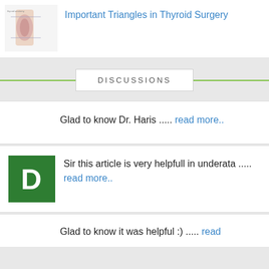Important Triangles in Thyroid Surgery
DISCUSSIONS
Glad to know Dr. Haris ..... read more..
Sir this article is very helpfull in underata ..... read more..
Glad to know it was helpful :) ..... read